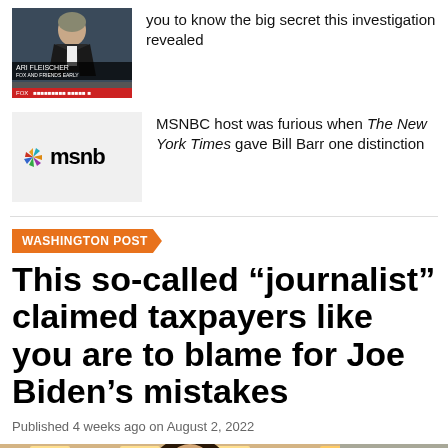[Figure (screenshot): TV screenshot of Ari Fleischer on a news program with lower-third chyron]
you to know the big secret this investigation revealed
[Figure (logo): MSNBC logo on light grey background]
MSNBC host was furious when The New York Times gave Bill Barr one distinction
WASHINGTON POST
This so-called “journalist” claimed taxpayers like you are to blame for Joe Biden’s mistakes
Published 4 weeks ago on August 2, 2022
[Figure (photo): Photo of a woman with dark hair in what appears to be a newsroom or office setting]